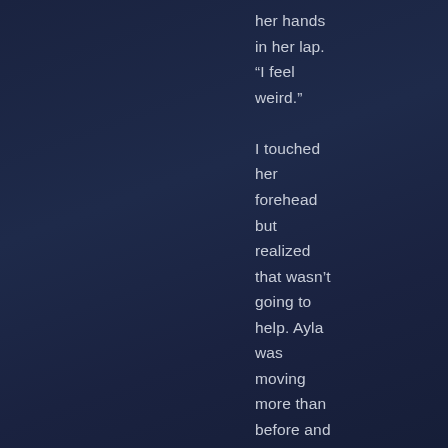her hands in her lap. “I feel weird.”

I touched her forehead but realized that wasn’t going to help. Ayla was moving more than before and I noticed she started to rub her